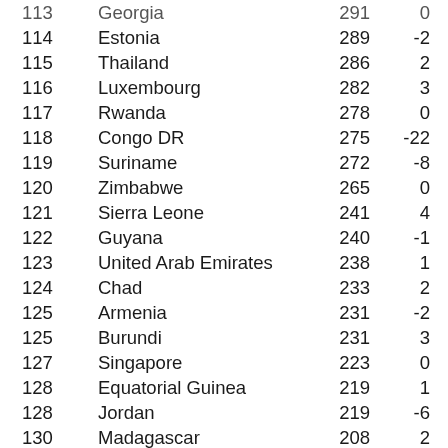| Rank | Country | Points | Change |
| --- | --- | --- | --- |
| 113 | Georgia (partial) | 291 | 0 |
| 114 | Estonia | 289 | -2 |
| 115 | Thailand | 286 | 2 |
| 116 | Luxembourg | 282 | 3 |
| 117 | Rwanda | 278 | 0 |
| 118 | Congo DR | 275 | -22 |
| 119 | Suriname | 272 | -8 |
| 120 | Zimbabwe | 265 | 0 |
| 121 | Sierra Leone | 241 | 4 |
| 122 | Guyana | 240 | -1 |
| 123 | United Arab Emirates | 238 | 1 |
| 124 | Chad | 233 | 2 |
| 125 | Armenia | 231 | -2 |
| 125 | Burundi | 231 | 3 |
| 127 | Singapore | 223 | 0 |
| 128 | Equatorial Guinea | 219 | 1 |
| 128 | Jordan | 219 | -6 |
| 130 | Madagascar | 208 | 2 |
| 131 | Indonesia | 202 | 3 |
| 132 | Botswana | 201 | -1 |
| 133 | New Caledonia | 199 | 5 |
| 134 | Niger | 190 | -1 |
| 135 | Hong Kong (partial) | 186 | 1 |